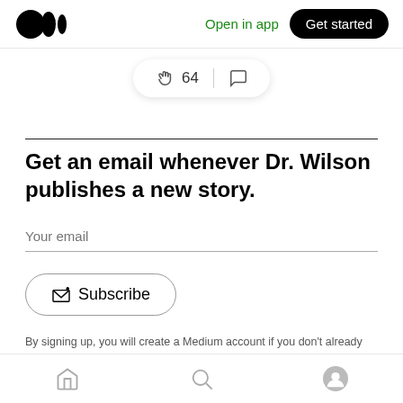Medium logo | Open in app | Get started
[Figure (infographic): Clap icon with count 64 and comment bubble icon in a pill-shaped bar]
Get an email whenever Dr. Wilson publishes a new story.
Your email
Subscribe
By signing up, you will create a Medium account if you don't already have one. Review our Privacy Policy for more information about our privacy practices.
Home | Search | Profile icons